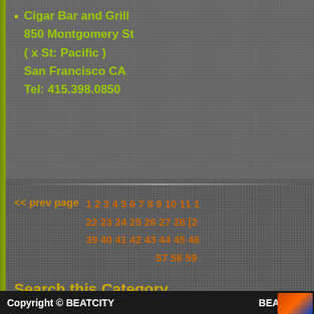Cigar Bar and Grill
850 Montgomery St
( x St: Pacific )
San Francisco CA
Tel: 415.398.0850
<< prev page   1 2 3 4 5 6 7 8 9 10 11 1... 22 23 24 25 26 27 28 [2... 39 40 41 42 43 44 45 46 57 58 59
Search this Category
Biz Name:
Copyright © BEATCITY   BEATCITY